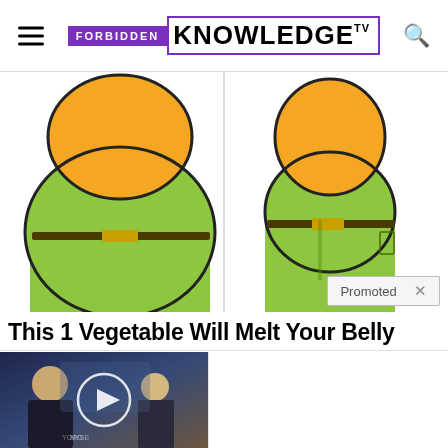Forbidden Knowledge TV
[Figure (illustration): Cartoon illustration of a person with belly fat, bright green pants and orange skin, shown before/after style. Partially cropped at page edges.]
This 1 Vegetable Will Melt Your Belly ...ht!
[Figure (screenshot): Promoted content badge showing 'Promoted X']
[Figure (photo): Video thumbnail: man being interviewed on financial news set with NYSE backdrop, play button overlay. Caption area: Biden Probably Wants This Video Destroyed — Massive Currency Upheaval Has Started]
[Figure (photo): Video thumbnail: two men in suits on tarmac, one raising arm, play button overlay. Caption area: Top Democrats Fear This Video Getting Out — Watch Now Before It's Banned]